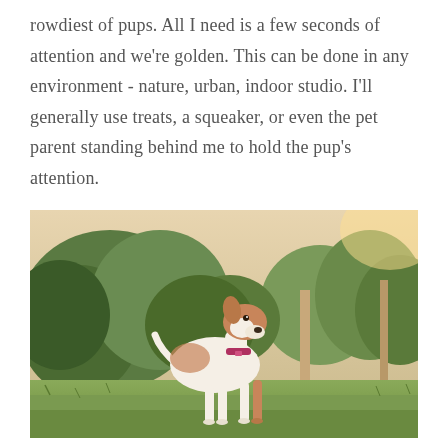rowdiest of pups. All I need is a few seconds of attention and we're golden. This can be done in any environment - nature, urban, indoor studio. I'll generally use treats, a squeaker, or even the pet parent standing behind me to hold the pup's attention.
[Figure (photo): A white and brown dog with a red collar standing on green grass in front of lush green trees, looking upward]